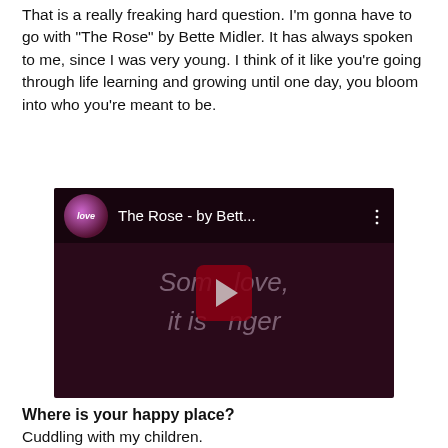That is a really freaking hard question. I'm gonna have to go with "The Rose" by Bette Midler. It has always spoken to me, since I was very young. I think of it like you're going through life learning and growing until one day, you bloom into who you're meant to be.
[Figure (screenshot): YouTube video thumbnail showing 'The Rose - by Bett...' with a dark maroon/purple background, a play button in the center, and partial lyrics text 'Som love, it is ger' overlaid on the thumbnail.]
Where is your happy place?
Cuddling with my children.
What is one thing about your home that you and your